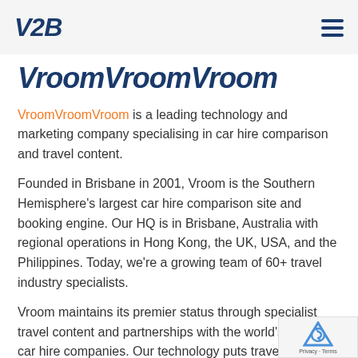V2B [logo] | hamburger menu
VroomVroomVroom
VroomVroomVroom is a leading technology and marketing company specialising in car hire comparison and travel content.
Founded in Brisbane in 2001, Vroom is the Southern Hemisphere's largest car hire comparison site and booking engine. Our HQ is in Brisbane, Australia with regional operations in Hong Kong, the UK, USA, and the Philippines. Today, we're a growing team of 60+ travel industry specialists.
Vroom maintains its premier status through specialist travel content and partnerships with the world's leading car hire companies. Our technology puts travellers in cars in every destination our partners operate.